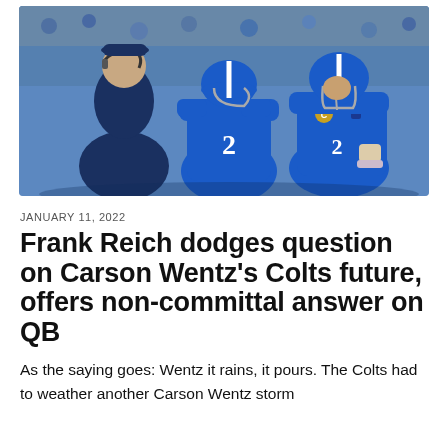[Figure (photo): Two Indianapolis Colts players in blue uniforms with white numbering (including #2) speaking with a coach on the sideline. NFL game setting.]
JANUARY 11, 2022
Frank Reich dodges question on Carson Wentz's Colts future, offers non-committal answer on QB
As the saying goes: Wentz it rains, it pours. The Colts had to weather another Carson Wentz storm